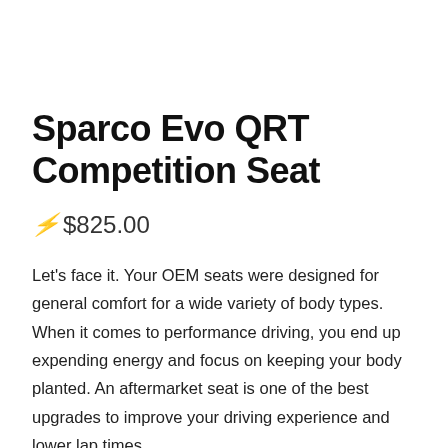Sparco Evo QRT Competition Seat
⚡ $825.00
Let's face it. Your OEM seats were designed for general comfort for a wide variety of body types. When it comes to performance driving, you end up expending energy and focus on keeping your body planted. An aftermarket seat is one of the best upgrades to improve your driving experience and lower lap times.
A continuation of the original Sparco EVO. The EVO QRT